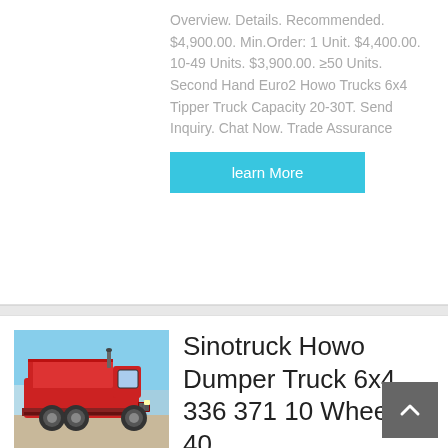Overview. Details. Recommended. $4,900.00. Min.Order: 1 Unit. $4,400.00. 10-49 Units. $3,900.00. ≥50 Units. Second Hand Euro2 Howo Trucks 6x4 Tipper Truck Capacity 20-30T. Send Inquiry. Chat Now. Trade Assurance
learn More
[Figure (photo): Red Sinotruck Howo dumper truck parked outdoors against blue sky]
Sinotruck Howo Dumper Truck 6x4 336 371 10 Wheeler 40 ...